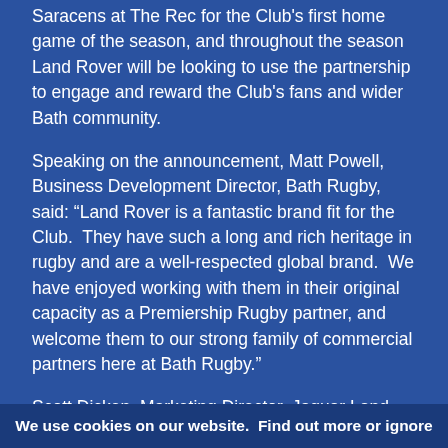Saracens at The Rec for the Club's first home game of the season, and throughout the season Land Rover will be looking to use the partnership to engage and reward the Club's fans and wider Bath community.
Speaking on the announcement, Matt Powell, Business Development Director, Bath Rugby, said: “Land Rover is a fantastic brand fit for the Club. They have such a long and rich heritage in rugby and are a well-respected global brand. We have enjoyed working with them in their original capacity as a Premiership Rugby partner, and welcome them to our strong family of commercial partners here at Bath Rugby.”
Scott Dicken, Marketing Director, Jaguar Land Rover UK, said: “We are delighted to partner with such a prestigious club that shares so many of the same values as Land Rover. We are proud to have been such a long term supporter of rugby in the UK, and this new partnership will enable us to complement the work we do through our Premiership
We use cookies on our website. Find out more or ignore